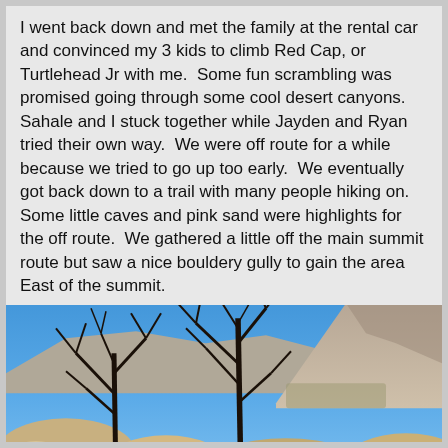I went back down and met the family at the rental car and convinced my 3 kids to climb Red Cap, or Turtlehead Jr with me.  Some fun scrambling was promised going through some cool desert canyons. Sahale and I stuck together while Jayden and Ryan tried their own way.  We were off route for a while because we tried to go up too early.  We eventually got back down to a trail with many people hiking on.  Some little caves and pink sand were highlights for the off route.  We gathered a little off the main summit route but saw a nice bouldery gully to gain the area East of the summit.
[Figure (photo): Outdoor desert landscape photo showing bare black dead trees in the foreground with large pale sandstone boulders, and mountains in the background under a bright blue sky. The right mountain peak is prominent and cone-shaped.]